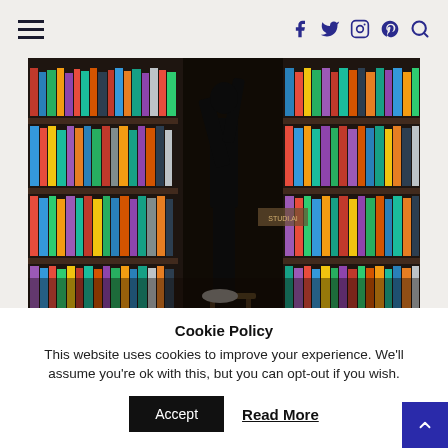☰  f  t  ○  ⊕  🔍
[Figure (photo): A person in black clothing standing on a wooden stool in a bookshop, reaching for books on high shelves. Bookshelves filled with colorful books on both sides. A dark bag on the floor. Dim, warm interior lighting.]
Cookie Policy
This website uses cookies to improve your experience. We'll assume you're ok with this, but you can opt-out if you wish.
Accept   Read More